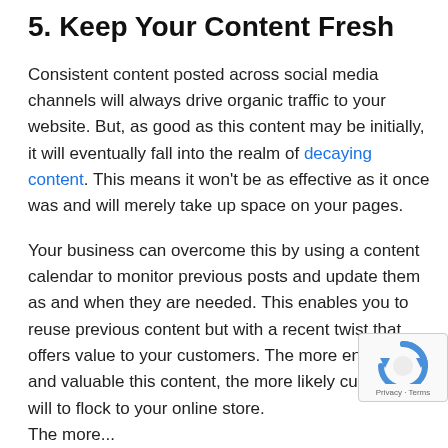5. Keep Your Content Fresh
Consistent content posted across social media channels will always drive organic traffic to your website. But, as good as this content may be initially, it will eventually fall into the realm of decaying content. This means it won't be as effective as it once was and will merely take up space on your pages.
Your business can overcome this by using a content calendar to monitor previous posts and update them as and when they are needed. This enables you to reuse previous content but with a recent twist that offers value to your customers. The more engaging and valuable this content, the more likely customers will flock to your online store.
The more...